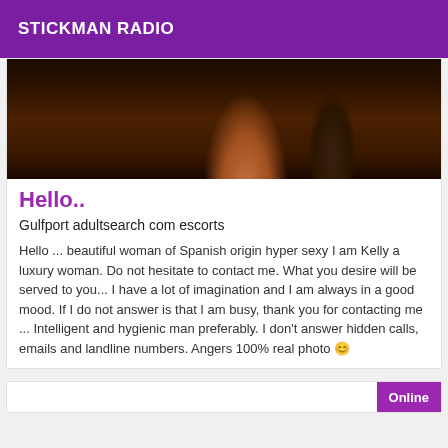STICKMAN RADIO
[Figure (photo): Dark photo showing a woman in a black outfit against a dark background]
Hello..
Gulfport adultsearch com escorts
Hello ... beautiful woman of Spanish origin hyper sexy I am Kelly a luxury woman. Do not hesitate to contact me. What you desire will be served to you... I have a lot of imagination and I am always in a good mood. If I do not answer is that I am busy, thank you for contacting me ... Intelligent and hygienic man preferably. I don't answer hidden calls, emails and landline numbers. Angers 100% real photo 😊
Online